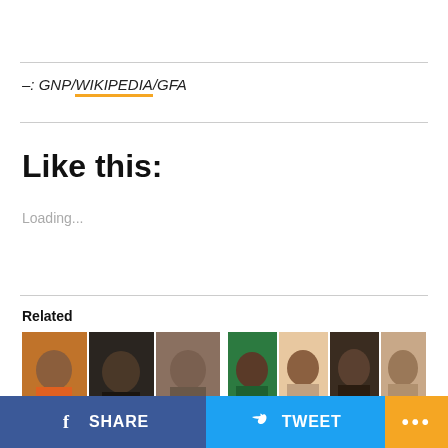–: GNP/WIKIPEDIA/GFA
Like this:
Loading...
Related
[Figure (photo): Three faces/portraits: elderly man in orange shirt, person with headphones, elderly man with glasses]
[Figure (photo): Four faces/portraits of people at an event, including people in political party colors]
SHARE
TWEET
•••